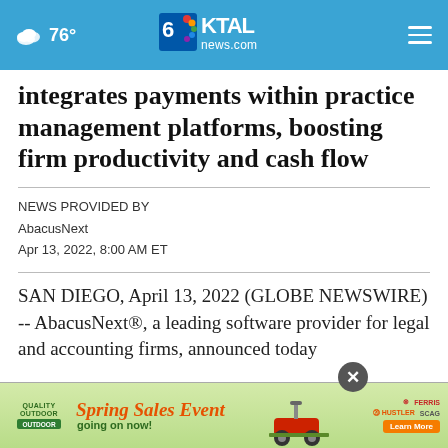76° KTAL news.com
integrates payments within practice management platforms, boosting firm productivity and cash flow
NEWS PROVIDED BY
AbacusNext
Apr 13, 2022, 8:00 AM ET
SAN DIEGO, April 13, 2022 (GLOBE NEWSWIRE) -- AbacusNext®, a leading software provider for legal and accounting firms, announced today
[Figure (other): Quality Outdoor Spring Sales Event advertisement banner with lawn mower image and brand logos (Hustler, Ferris, Scag)]